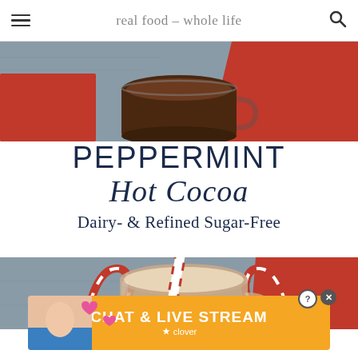real food – whole life
[Figure (photo): Close-up of a glass mug with dark hot cocoa on a red cloth background, viewed from above]
PEPPERMINT Hot Cocoa Dairy- & Refined Sugar-Free
[Figure (photo): Glass mug of peppermint hot cocoa with a red and white striped straw and candy canes on a gray wooden surface with red cloth]
[Figure (screenshot): Advertisement banner: CHAT & LIVE STREAM – clover]